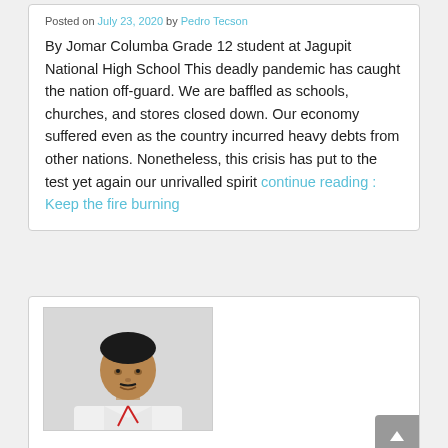Posted on July 23, 2020 by Pedro Tecson
By Jomar Columba Grade 12 student at Jagupit National High School This deadly pandemic has caught the nation off-guard. We are baffled as schools, churches, and stores closed down. Our economy suffered even as the country incurred heavy debts from other nations. Nonetheless, this crisis has put to the test yet again our unrivalled spirit continue reading : Keep the fire burning
[Figure (photo): Portrait photo of a man wearing a white long-sleeve shirt with a lanyard, against a light gray background]